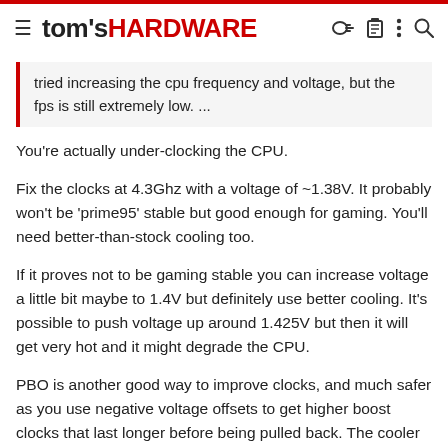tom's HARDWARE
tried increasing the cpu frequency and voltage, but the fps is still extremely low. ...
You're actually under-clocking the CPU.
Fix the clocks at 4.3Ghz with a voltage of ~1.38V. It probably won't be 'prime95' stable but good enough for gaming. You'll need better-than-stock cooling too.
If it proves not to be gaming stable you can increase voltage a little bit maybe to 1.4V but definitely use better cooling. It's possible to push voltage up around 1.425V but then it will get very hot and it might degrade the CPU.
PBO is another good way to improve clocks, and much safer as you use negative voltage offsets to get higher boost clocks that last longer before being pulled back. The cooler you can keep the